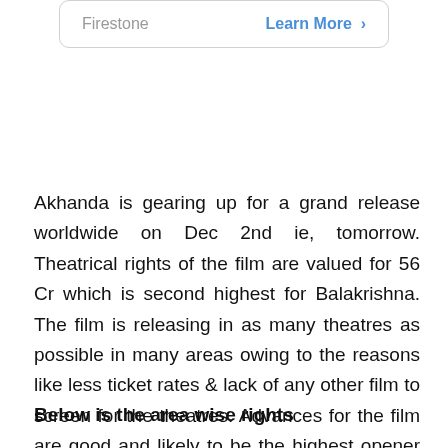[Figure (other): Advertisement box with brand name 'Firestone' and 'Learn More >' link]
Akhanda is gearing up for a grand release worldwide on Dec 2nd ie, tomorrow. Theatrical rights of the film are valued for 56 Cr which is second highest for Balakrishna. The film is releasing in as many theatres as possible in many areas owing to the reasons like less ticket rates & lack of any other film to screen for the theatres. Advances for the film are good and likely to be the highest opener for the hero beating GPSK (9.76 Cr).
Below is the area wise rights